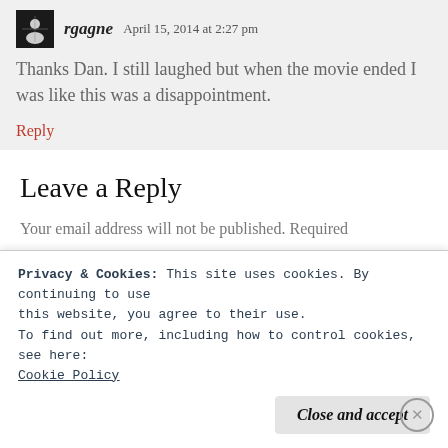rgagne   April 15, 2014 at 2:27 pm
Thanks Dan. I still laughed but when the movie ended I was like this was a disappointment.
Reply
Leave a Reply
Your email address will not be published. Required
Privacy & Cookies: This site uses cookies. By continuing to use this website, you agree to their use.
To find out more, including how to control cookies, see here:
Cookie Policy
Close and accept